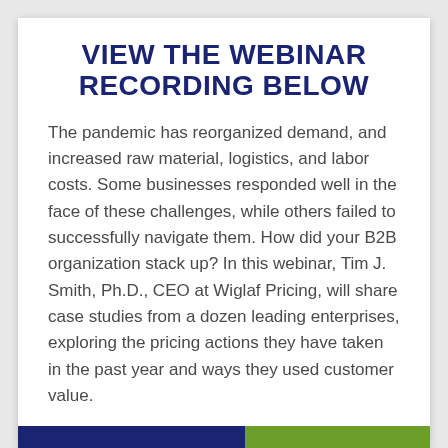VIEW THE WEBINAR RECORDING BELOW
The pandemic has reorganized demand, and increased raw material, logistics, and labor costs. Some businesses responded well in the face of these challenges, while others failed to successfully navigate them. How did your B2B organization stack up? In this webinar, Tim J. Smith, Ph.D., CEO at Wiglaf Pricing, will share case studies from a dozen leading enterprises, exploring the pricing actions they have taken in the past year and ways they used customer value.